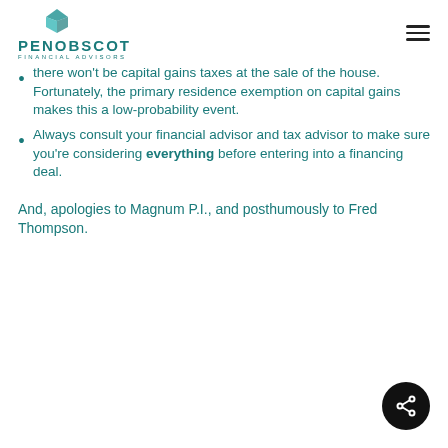PENOBSCOT FINANCIAL ADVISORS
there won't be capital gains taxes at the sale of the house.  Fortunately, the primary residence exemption on capital gains makes this a low-probability event.
Always consult your financial advisor and tax advisor to make sure you're considering everything before entering into a financing deal.
And, apologies to Magnum P.I., and posthumously to Fred Thompson.